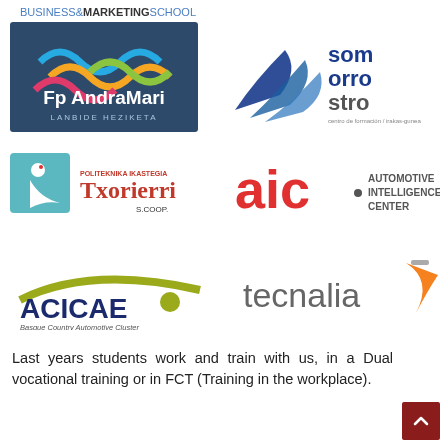[Figure (logo): Business & Marketing School logo (text logo, top left area)]
[Figure (logo): Fp AndraMari Lanbide Heziketa logo - colorful wave design on dark blue background]
[Figure (logo): Somorrostro centro de formacion / irakas-gunea logo - blue leaf/feather graphic with text]
[Figure (logo): Txorierri Politeknika Ikastegia S.Coop - teal bird on box with red/black text]
[Figure (logo): AIC Automotive Intelligence Center logo - red 'aic' with grey text]
[Figure (logo): ACICAE Basque Country Automotive Cluster logo - olive/yellow swoosh with dark blue text]
[Figure (logo): Tecnalia logo - grey text with orange swoosh]
Last years students work and train with us, in a Dual vocational training or in FCT (Training in the workplace).